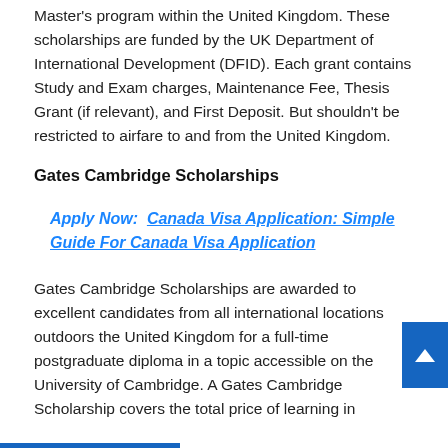Master's program within the United Kingdom. These scholarships are funded by the UK Department of International Development (DFID). Each grant contains Study and Exam charges, Maintenance Fee, Thesis Grant (if relevant), and First Deposit. But shouldn't be restricted to airfare to and from the United Kingdom.
Gates Cambridge Scholarships
Apply Now:  Canada Visa Application: Simple Guide For Canada Visa Application
Gates Cambridge Scholarships are awarded to excellent candidates from all international locations outdoors the United Kingdom for a full-time postgraduate diploma in a topic accessible on the University of Cambridge. A Gates Cambridge Scholarship covers the total price of learning in